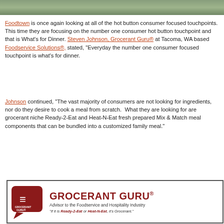[Figure (photo): Top strip of a photo showing green foliage/leaves]
Foodtown is once again looking at all of the hot button consumer focused touchpoints. This time they are focusing on the number one consumer hot button touchpoint and that is What's for Dinner. Steven Johnson, Grocerant Guru® at Tacoma, WA based Foodservice Solutions®, stated, "Everyday the number one consumer focused touchpoint is what's for dinner.
Johnson continued, "The vast majority of consumers are not looking for ingredients, nor do they desire to cook a meal from scratch. What they are looking for are grocerant niche Ready-2-Eat and Heat-N-Eat fresh prepared Mix & Match meal components that can be bundled into a customized family meal."
[Figure (logo): Grocerant Guru® logo with red speech bubble icon, title text GROCERANT GURU®, tagline Advisor to the Foodservice and Hospitality Industry, and slogan If it is Ready-2-Eat or Heat-N-Eat, it's Grocerant.]